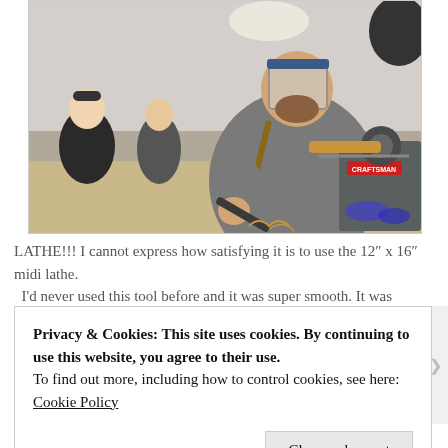[Figure (photo): A man wearing a face shield and apron operating a Craftsman wood lathe in a workshop setting. Other people visible in the background also wearing protective gear.]
LATHE!!! I cannot express how satisfying it is to use the 12″ x 16″ midi lathe. I'd never used this tool before and it was super smooth. It was essentially
Privacy & Cookies: This site uses cookies. By continuing to use this website, you agree to their use.
To find out more, including how to control cookies, see here: Cookie Policy
Close and accept